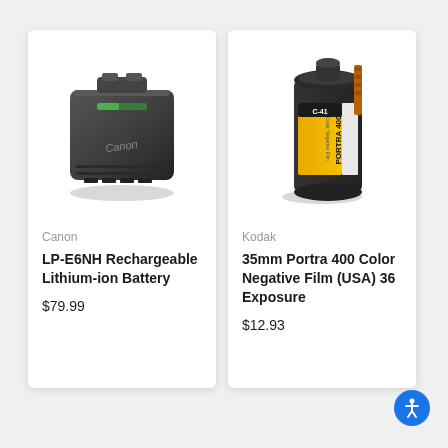[Figure (photo): Canon LP-E6NH rechargeable lithium-ion battery, dark grey, angled product photo on white background]
Canon
LP-E6NH Rechargeable Lithium-ion Battery
$79.99
[Figure (photo): Kodak Portra 400 35mm Color Negative Film roll, C-41 process, gold and black canister with film leader]
Kodak
35mm Portra 400 Color Negative Film (USA) 36 Exposure
$12.93